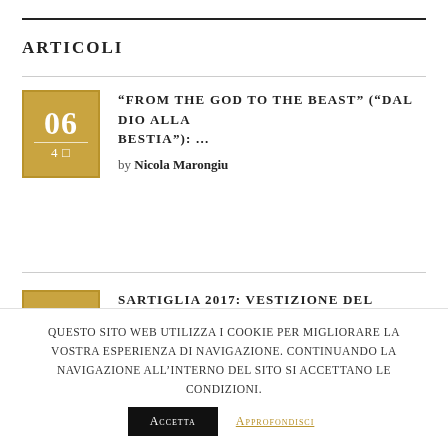ARTICOLI
“FROM THE GOD TO THE BEAST” (“DAL DIO ALLA BESTIA”): ... by Nicola Marongiu
SARTIGLIA 2017: VESTIZIONE DEL COMPONIDORI SERGIO LEDDA, 26 FEBBRAIO, LE ... by Nicola Marongiu
Questo sito web utilizza i cookie per migliorare la vostra esperienza di navigazione. Continuando la navigazione all’interno del sito si accettano le condizioni. Accetta Approfondisci